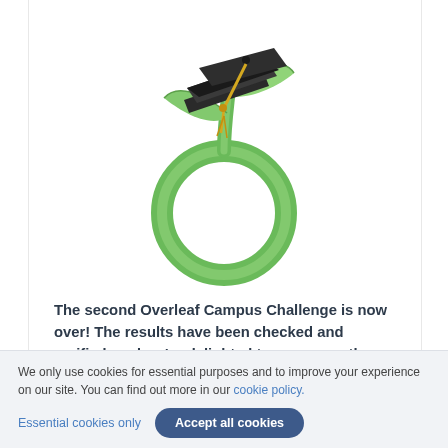[Figure (illustration): Logo illustration: a green circular plant stem forming a ring shape with green leaves at the top, topped with a black graduation mortarboard cap with a yellow tassel]
The second Overleaf Campus Challenge is now over! The results have been checked and verified, and we're delighted to announce the winners of the Overleaf Campus Challenge 2017!
We only use cookies for essential purposes and to improve your experience on our site. You can find out more in our cookie policy.
Essential cookies only   Accept all cookies